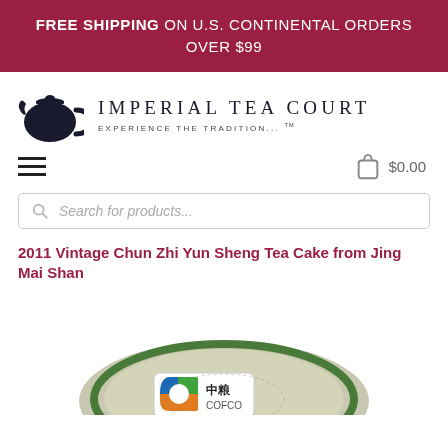FREE SHIPPING ON U.S. CONTINENTAL ORDERS OVER $99
[Figure (logo): Imperial Tea Court logo with teapot icon and text IMPERIAL TEA COURT EXPERIENCE THE TRADITION... TM]
☰  $0.00 (cart icon with shopping bag)
Search for products...
2011 Vintage Chun Zhi Yun Sheng Tea Cake from Jing Mai Shan
[Figure (photo): Circular tea cake tin with COFCO 中粮 label visible, green and silver packaging]